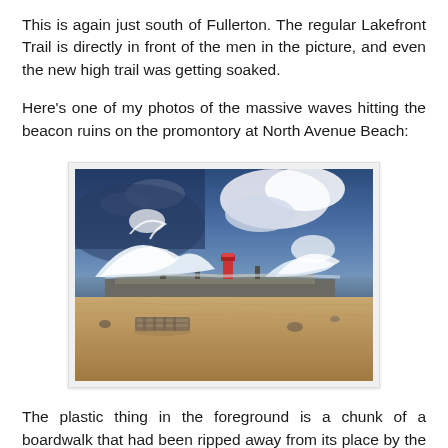This is again just south of Fullerton. The regular Lakefront Trail is directly in front of the men in the picture, and even the new high trail was getting soaked.
Here's one of my photos of the massive waves hitting the beacon ruins on the promontory at North Avenue Beach:
[Figure (photo): A dramatic photo of massive waves crashing over a promontory at North Avenue Beach. Large white waves surge over a low seawall structure with a small red beacon/lighthouse visible. The sky is stormy blue with white clouds. The foreground shows sandy beach with a chunk of boardwalk debris.]
The plastic thing in the foreground is a chunk of a boardwalk that had been ripped away from its place by the waves.
So the morning after the storm, while on my Saturday